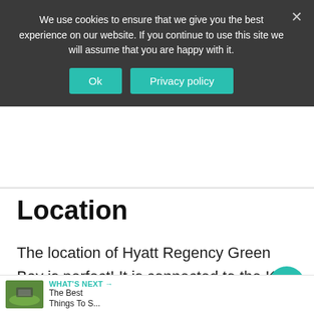We use cookies to ensure that we give you the best experience on our website. If you continue to use this site we will assume that you are happy with it.
Ok | Privacy policy
Location
The location of Hyatt Regency Green Bay is perfect! It is connected to the KI Convention Center and walking distance to Titletown Brewery and Downtown Green Bay. In addition, it is fifteen minutes from the well-known, Green Bay Botanical Gardens and also...
[Figure (other): WHAT'S NEXT banner with thumbnail image of a green field/stadium and text 'The Best Things To S...']